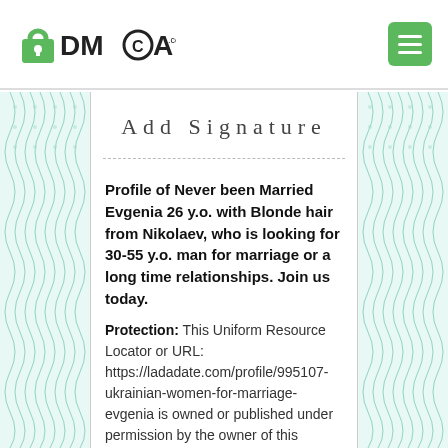DMCA.com
Add Signature
Profile of Never been Married Evgenia 26 y.o. with Blonde hair from Nikolaev, who is looking for 30-55 y.o. man for marriage or a long time relationships. Join us today.
Protection: This Uniform Resource Locator or URL: https://ladadate.com/profile/995107-ukrainian-women-for-marriage-evgenia is owned or published under permission by the owner of this channel. The audio and or video presentation is original